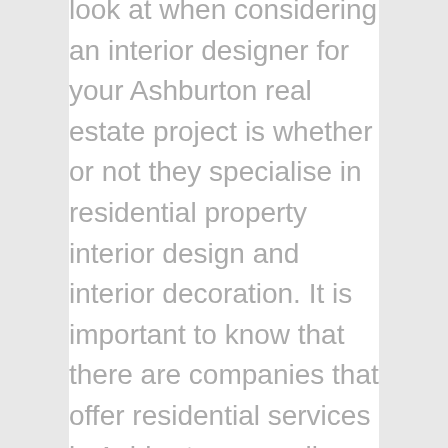look at when considering an interior designer for your Ashburton real estate project is whether or not they specialise in residential property interior design and interior decoration. It is important to know that there are companies that offer residential services in Ashburton as well as those that provide services for businesses, retail properties and others. This can make the difference between a good service provider and one that will leave you